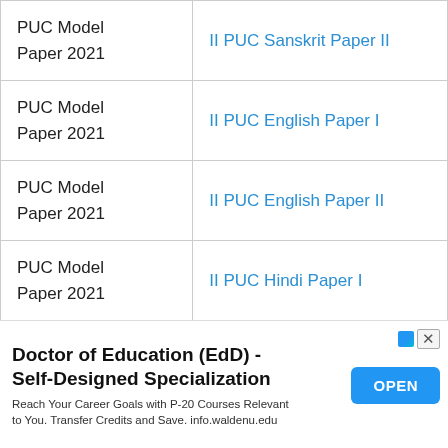| Type | Paper |
| --- | --- |
| PUC Model Paper 2021 | II PUC Sanskrit Paper II |
| PUC Model Paper 2021 | II PUC English Paper I |
| PUC Model Paper 2021 | II PUC English Paper II |
| PUC Model Paper 2021 | II PUC Hindi Paper I |
| PUC Model ... |  |
Doctor of Education (EdD) - Self-Designed Specialization
Reach Your Career Goals with P-20 Courses Relevant to You. Transfer Credits and Save. info.waldenu.edu
OPEN